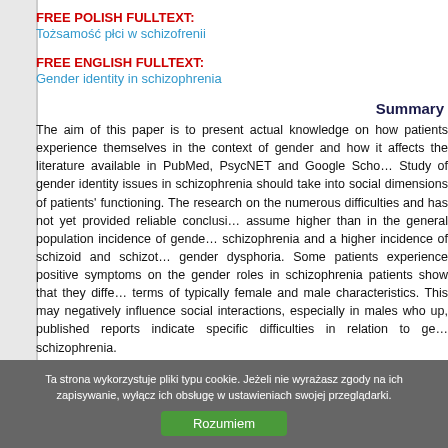FREE POLISH FULLTEXT: Tożsamość płci w schizofrenii
FREE ENGLISH FULLTEXT: Gender identity in schizophrenia
Summary
The aim of this paper is to present actual knowledge on how patients experience themselves in the context of gender and how it affects the literature available in PubMed, PsycNET and Google Scho... Study of gender identity issues in schizophrenia should take into social dimensions of patients' functioning. The research on the numerous difficulties and has not yet provided reliable conclusi... assume higher than in the general population incidence of gende... schizophrenia and a higher incidence of schizoid and schizot... gender dysphoria. Some patients experience positive symptoms on the gender roles in schizophrenia patients show that they diffe... terms of typically female and male characteristics. This may negatively influence social interactions, especially in males who up, published reports indicate specific difficulties in relation to ge... schizophrenia.
Ta strona wykorzystuje pliki typu cookie. Jeżeli nie wyrażasz zgody na ich zapisywanie, wyłącz ich obsługę w ustawieniach swojej przeglądarki.